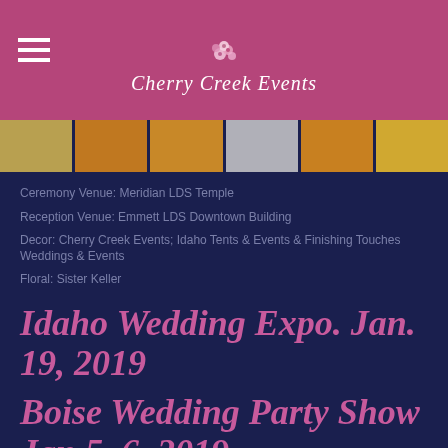Cherry Creek Events
[Figure (photo): Horizontal strip of wedding photo thumbnails]
Ceremony Venue: Meridian LDS Temple
Reception Venue: Emmett LDS Downtown Building
Decor: Cherry Creek Events; Idaho Tents & Events & Finishing Touches Weddings & Events
Floral: Sister Keller
Idaho Wedding Expo. Jan. 19, 2019
Boise Wedding Party Show Jan 5-6, 2019